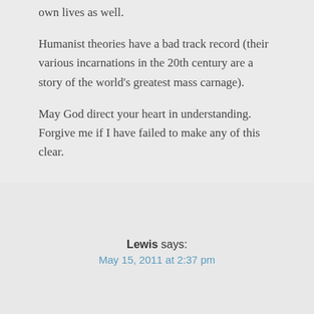own lives as well.
Humanist theories have a bad track record (their various incarnations in the 20th century are a story of the world's greatest mass carnage).
May God direct your heart in understanding. Forgive me if I have failed to make any of this clear.
Lewis says:
May 15, 2011 at 2:37 pm